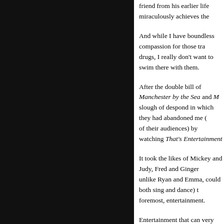friend from his earlier life miraculously achieves the
And while I have boundless compassion for those trapped by drugs, I really don't want to swim there with them.
After the double bill of Manchester by the Sea and M... slough of despond in which they had abandoned me (... of their audiences) by watching That's Entertainment
It took the likes of Mickey and Judy, Fred and Ginger... unlike Ryan and Emma, could both sing and dance) to... foremost, entertainment.
Entertainment that can very occasionally, as it did under Hitchcock and a handful of others, become art.
So there's the one explanation for the immense critica